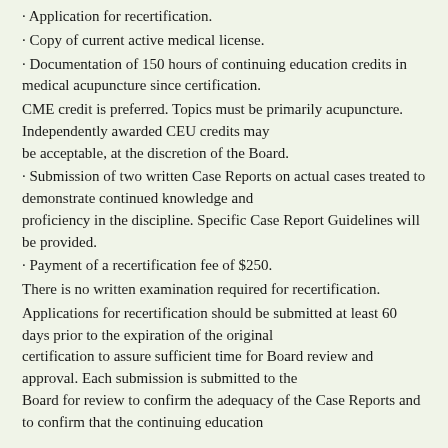· Application for recertification.
· Copy of current active medical license.
· Documentation of 150 hours of continuing education credits in medical acupuncture since certification.
CME credit is preferred. Topics must be primarily acupuncture. Independently awarded CEU credits may be acceptable, at the discretion of the Board.
· Submission of two written Case Reports on actual cases treated to demonstrate continued knowledge and proficiency in the discipline. Specific Case Report Guidelines will be provided.
· Payment of a recertification fee of $250.
There is no written examination required for recertification.
Applications for recertification should be submitted at least 60 days prior to the expiration of the original certification to assure sufficient time for Board review and approval. Each submission is submitted to the Board for review to confirm the adequacy of the Case Reports and to confirm that the continuing education